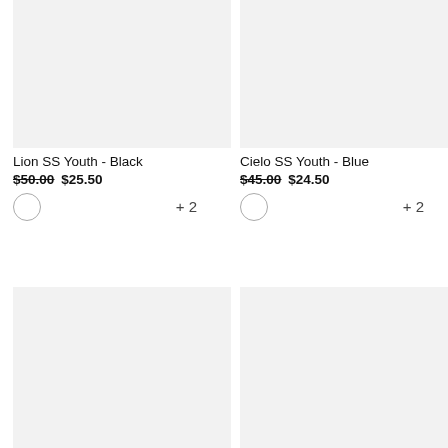[Figure (photo): Product image placeholder for Lion SS Youth - Black, light gray background]
Lion SS Youth - Black
$50.00  $25.50
[Figure (photo): Color swatch circle (white/outline) with +2 more colors indicator]
[Figure (photo): Product image placeholder for Cielo SS Youth - Blue, light gray background]
Cielo SS Youth - Blue
$45.00  $24.50
[Figure (photo): Color swatch circle (white/outline) with +2 more colors indicator]
[Figure (photo): Product image placeholder bottom-left, light gray background]
[Figure (photo): Product image placeholder bottom-right, light gray background]